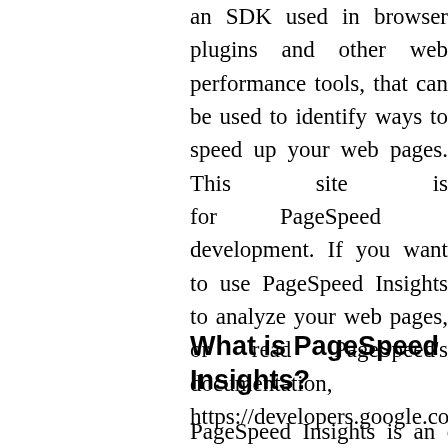an SDK used in browser plugins and other web performance tools, that can be used to identify ways to speed up your web pages. This site is for PageSpeed Insights development. If you want to use PageSpeed Insights to analyze your web pages, or read PageSpeed's documentation, see https://developers.google.com/speed/pagespe...
What is PageSpeed Insights?
PageSpeed Insights is an open-